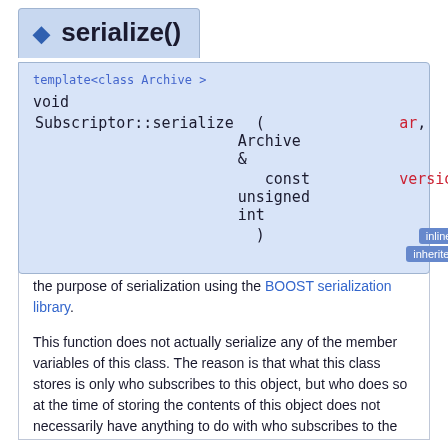◆ serialize()
template<class Archive >
void
Subscriptor::serialize ( Archive & ar,
                          const unsigned int version
                        )
Read or write the data of this object to or from a stream for the purpose of serialization using the BOOST serialization library.
This function does not actually serialize any of the member variables of this class. The reason is that what this class stores is only who subscribes to this object, but who does so at the time of storing the contents of this object does not necessarily have anything to do with who subscribes to the object when it is restored. Consequently, we do not want to overwrite the subscribers at the time of restoring, and then there is no reason to write the subscribers out in the first place.